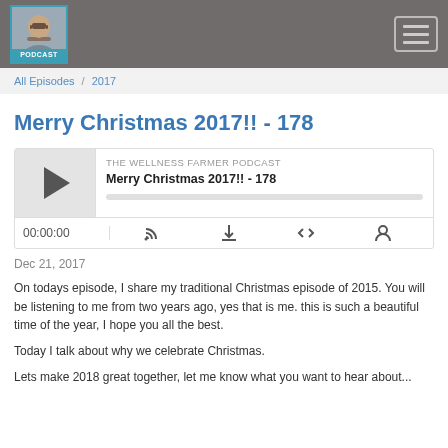Navigation header with avatar and hamburger menu
All Episodes / 2017
Merry Christmas 2017!! - 178
[Figure (screenshot): Podcast player widget for 'Merry Christmas 2017!! - 178' from THE WELLNESS FARMER PODCAST, showing play button, episode title, progress bar, time display 00:00:00, and podcast controls icons (RSS, download, embed, share)]
Dec 21, 2017
On todays episode, I share my traditional Christmas episode of 2015. You will be listening to me from two years ago, yes that is me. this is such a beautiful time of the year, I hope you all the best.
Today I talk about why we celebrate Christmas.
Lets make 2018 great together, let me know what you want to hear about...